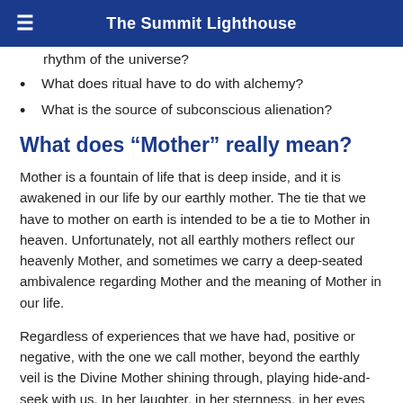The Summit Lighthouse
rhythm of the universe?
What does ritual have to do with alchemy?
What is the source of subconscious alienation?
What does “Mother” really mean?
Mother is a fountain of life that is deep inside, and it is awakened in our life by our earthly mother. The tie that we have to mother on earth is intended to be a tie to Mother in heaven. Unfortunately, not all earthly mothers reflect our heavenly Mother, and sometimes we carry a deep-seated ambivalence regarding Mother and the meaning of Mother in our life.
Regardless of experiences that we have had, positive or negative, with the one we call mother, beyond the earthly veil is the Divine Mother shining through, playing hide-and-seek with us. In her laughter, in her sternness, in her eyes we find the